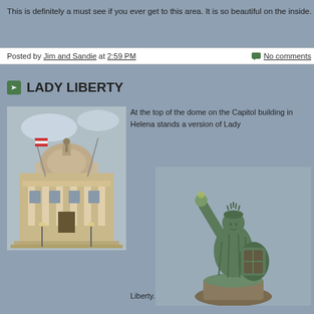This is definitely a must see if you ever get to this area. It is so beautiful on the inside.
Posted by Jim and Sandie at 2:59 PM   No comments
LADY LIBERTY
[Figure (photo): Photo of the Montana State Capitol building in Helena, viewed from the front, showing the dome and classical columns]
At the top of the dome on the Capitol building in Helena stands a version of Lady
[Figure (photo): Close-up photo of the Lady Liberty statue on top of the Montana State Capitol dome, showing a green/bronze figure holding a torch aloft with a shield]
Liberty.